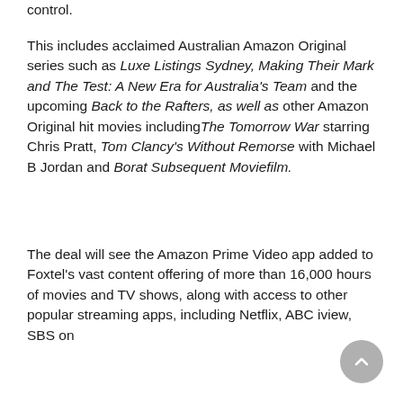control.
This includes acclaimed Australian Amazon Original series such as Luxe Listings Sydney, Making Their Mark and The Test: A New Era for Australia's Team and the upcoming Back to the Rafters, as well as other Amazon Original hit movies including The Tomorrow War starring Chris Pratt, Tom Clancy's Without Remorse with Michael B Jordan and Borat Subsequent Moviefilm.
The deal will see the Amazon Prime Video app added to Foxtel's vast content offering of more than 16,000 hours of movies and TV shows, along with access to other popular streaming apps, including Netflix, ABC iview, SBS on